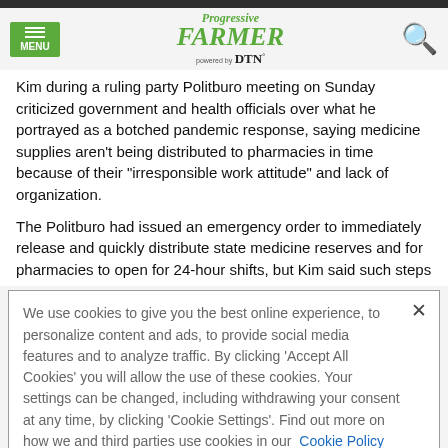Progressive Farmer powered by DTN
Kim during a ruling party Politburo meeting on Sunday criticized government and health officials over what he portrayed as a botched pandemic response, saying medicine supplies aren't being distributed to pharmacies in time because of their "irresponsible work attitude" and lack of organization.
The Politburo had issued an emergency order to immediately release and quickly distribute state medicine reserves and for pharmacies to open for 24-hour shifts, but Kim said such steps
We use cookies to give you the best online experience, to personalize content and ads, to provide social media features and to analyze traffic. By clicking 'Accept All Cookies' you will allow the use of these cookies. Your settings can be changed, including withdrawing your consent at any time, by clicking 'Cookie Settings'. Find out more on how we and third parties use cookies in our  Cookie Policy
Accept and Close ×
Your browser settings do not allow cross-site tracking for advertising. Click on this page to allow AdRoll to use cross-site tracking to tailor ads to you. Learn more or opt out of this AdRoll tracking by clicking here. This message only appears once.